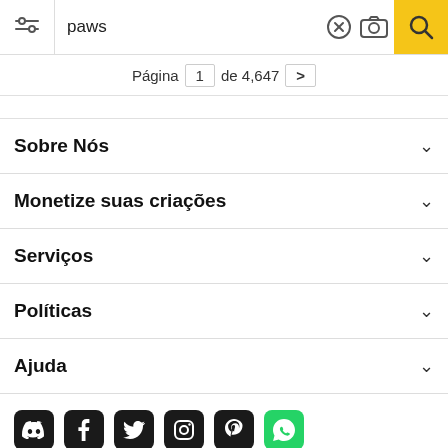paws — search bar with filter, clear, camera, and search icons
Página 1 de 4,647 >
Sobre Nós
Monetize suas criações
Serviços
Políticas
Ajuda
[Figure (other): Social media icons: Discord, Facebook, Twitter, Instagram, Pinterest, WhatsApp]
Todos os direitos reservados. © Inmagine Lab Pte Ltd 2022.